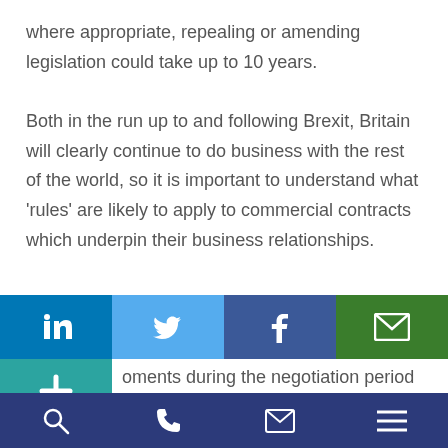where appropriate, repealing or amending legislation could take up to 10 years.

Both in the run up to and following Brexit, Britain will clearly continue to do business with the rest of the world, so it is important to understand what 'rules' are likely to apply to commercial contracts which underpin their business relationships.
[Figure (infographic): Social share buttons bar: LinkedIn (blue), Twitter (light blue), Facebook (dark blue), Email/envelope (green). Below left is a teal '+' button.]
oments during the negotiation period
e of the commercial and legal areas?
[Figure (infographic): Bottom navigation bar with dark blue background containing search, phone, email, and menu icons.]